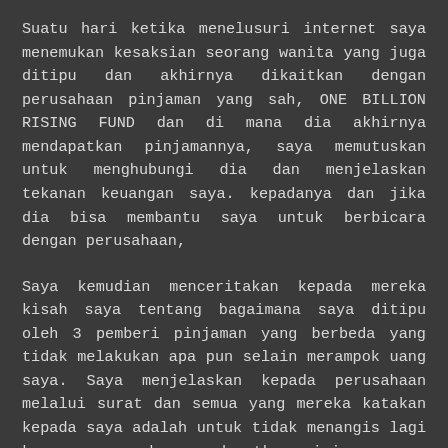Suatu hari ketika menelusuri internet saya menemukan kesaksian seorang wanita yang juga ditipu dan akhirnya dikaitkan dengan perusahaan pinjaman yang sah, ONE BILLION RISING FUND dan di mana dia akhirnya mendapatkan pinjamannya, saya memutuskan untuk menghubungi dia dan menjelaskan tekanan keuangan saya. kepadanya dan jika dia bisa membantu saya untuk berbicara dengan perusahaan,
Saya kemudian menceritakan kepada mereka kisah saya tentang bagaimana saya ditipu oleh 3 pemberi pinjaman yang berbeda yang tidak melakukan apa pun selain merampok uang saya. Saya menjelaskan kepada perusahaan melalui surat dan semua yang mereka katakan kepada saya adalah untuk tidak menangis lagi karena saya akan mendapatkan pinjaman saya di perusahaan mereka dan saya juga telah membuat pilihan yang tepat dengan menghubungi mereka. Saya mengisi formulir permohonan pinjaman dan melanjutkan dengan semua yang diperlukan dari saya dan saya terkejut, saya diberi pinjaman sebesar Rp 200 juta oleh perusahaan besar ini, ONE BILLION